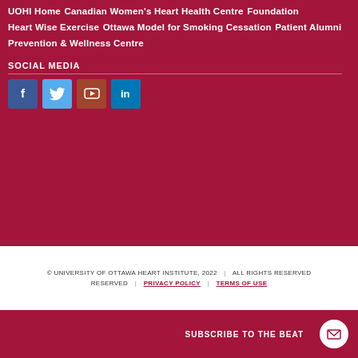UOHI Home
Canadian Women's Heart Health Centre
Foundation
Heart Wise Exercise
Ottawa Model for Smoking Cessation
Patient Alumni
Prevention & Wellness Centre
SOCIAL MEDIA
[Figure (other): Social media icons: Facebook, Twitter, YouTube, LinkedIn]
© UNIVERSITY OF OTTAWA HEART INSTITUTE, 2022 | ALL RIGHTS RESERVED | PRIVACY POLICY | TERMS OF USE
SUBSCRIBE TO THE BEAT